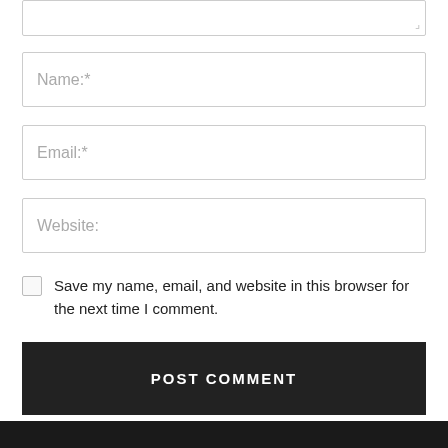[textarea partial - top cropped]
Name:*
Email:*
Website:
Save my name, email, and website in this browser for the next time I comment.
POST COMMENT